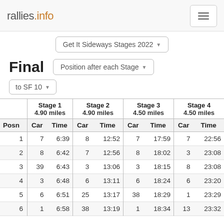rallies.info
Get It Sideways Stages 2022
Final
Position after each Stage
to SF 10
| Posn | Stage 1 4.90 miles Car | Stage 1 4.90 miles Time | Stage 2 4.90 miles Car | Stage 2 4.90 miles Time | Stage 3 4.50 miles Car | Stage 3 4.50 miles Time | Stage 4 4.50 miles Car | Stage 4 4.50 miles Time |
| --- | --- | --- | --- | --- | --- | --- | --- | --- |
| 1 | 7 | 6:39 | 8 | 12:52 | 7 | 17:59 | 7 | 22:56 |
| 2 | 8 | 6:42 | 7 | 12:56 | 8 | 18:02 | 3 | 23:08 |
| 3 | 39 | 6:43 | 3 | 13:06 | 3 | 18:15 | 8 | 23:08 |
| 4 | 3 | 6:48 | 6 | 13:11 | 6 | 18:24 | 6 | 23:20 |
| 5 | 6 | 6:51 | 25 | 13:17 | 38 | 18:29 | 1 | 23:29 |
| 6 | 1 | 6:58 | 38 | 13:19 | 1 | 18:34 | 13 | 23:32 |